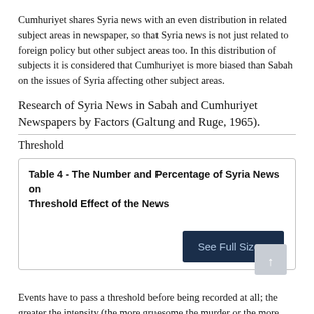Cumhuriyet shares Syria news with an even distribution in related subject areas in newspaper, so that Syria news is not just related to foreign policy but other subject areas too. In this distribution of subjects it is considered that Cumhuriyet is more biased than Sabah on the issues of Syria affecting other subject areas.
Research of Syria News in Sabah and Cumhuriyet Newspapers by Factors (Galtung and Ruge, 1965).
Threshold
Events have to pass a threshold before being recorded at all; the greater the intensity (the more gruesome the murder or the more casualties in an accident), the greater the impact and the more likely it is to be selected (O'Neill & Harcup, 2009, p. 164).